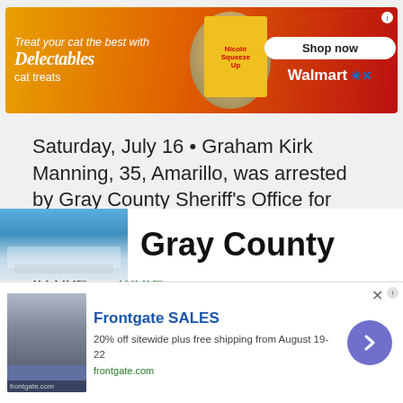[Figure (screenshot): Delectables cat treats advertisement banner with cat photo and Walmart Shop Now button]
Saturday, July 16 • Graham Kirk Manning, 35, Amarillo, was arrested by Gray County Sheriff's Office for possession of a controlled substance penalty group one greater than/equal to one …
more
Staff Report | 7/19/22
[Figure (photo): Gray County building photo with blue sky]
Gray County
[Figure (screenshot): Frontgate SALES advertisement — 20% off sitewide plus free shipping from August 19-22, frontgate.com]